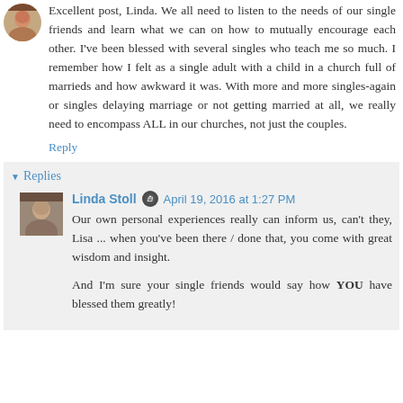[Figure (photo): Small circular avatar photo of a woman]
Excellent post, Linda. We all need to listen to the needs of our single friends and learn what we can on how to mutually encourage each other. I've been blessed with several singles who teach me so much. I remember how I felt as a single adult with a child in a church full of marrieds and how awkward it was. With more and more singles-again or singles delaying marriage or not getting married at all, we really need to encompass ALL in our churches, not just the couples.
Reply
Replies
[Figure (photo): Small square avatar photo of Linda Stoll]
Linda Stoll
April 19, 2016 at 1:27 PM
Our own personal experiences really can inform us, can't they, Lisa ... when you've been there / done that, you come with great wisdom and insight.
And I'm sure your single friends would say how YOU have blessed them greatly!